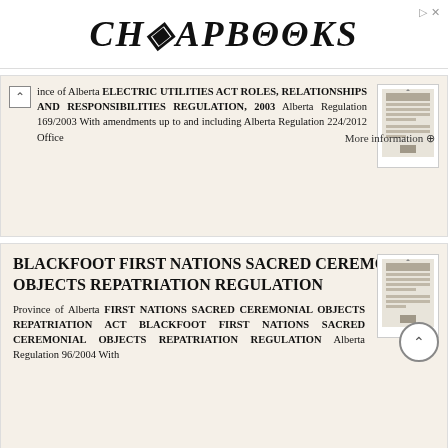[Figure (logo): CheapBooks logo in stylized serif font with crossed-circle letterforms]
Province of Alberta ELECTRIC UTILITIES ACT ROLES, RELATIONSHIPS AND RESPONSIBILITIES REGULATION, 2003 Alberta Regulation 169/2003 With amendments up to and including Alberta Regulation 224/2012 Office
More information →
BLACKFOOT FIRST NATIONS SACRED CEREMONIAL OBJECTS REPATRIATION REGULATION
Province of Alberta FIRST NATIONS SACRED CEREMONIAL OBJECTS REPATRIATION ACT BLACKFOOT FIRST NATIONS SACRED CEREMONIAL OBJECTS REPATRIATION REGULATION Alberta Regulation 96/2004 With